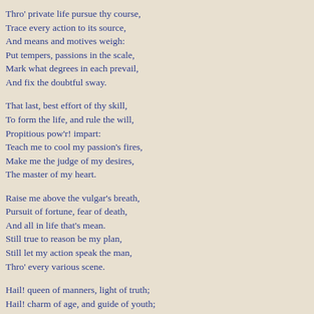Thro' private life pursue thy course,
Trace every action to its source,
And means and motives weigh:
Put tempers, passions in the scale,
Mark what degrees in each prevail,
And fix the doubtful sway.
That last, best effort of thy skill,
To form the life, and rule the will,
Propitious pow'r! impart:
Teach me to cool my passion's fires,
Make me the judge of my desires,
The master of my heart.
Raise me above the vulgar's breath,
Pursuit of fortune, fear of death,
And all in life that's mean.
Still true to reason be my plan,
Still let my action speak the man,
Thro' every various scene.
Hail! queen of manners, light of truth;
Hail! charm of age, and guide of youth;
Sweet refuge of distress:
In business, thou! exact, polite;
Thou giv'st Retirement its delight,
Prosperity its grace.
Of wealth, pow'r, freedom, thou! the cause;